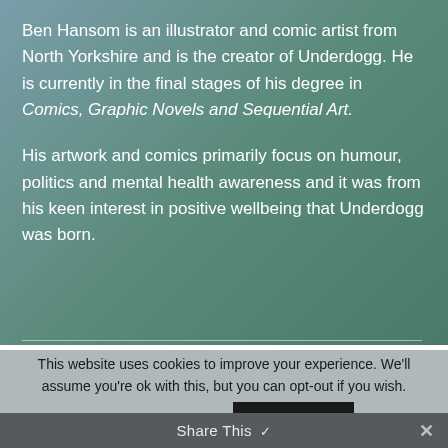Ben Hansom is an illustrator and comic artist from North Yorkshire and is the creator of Underdogg. He is currently in the final stages of his degree in Comics, Graphic Novels and Sequential Art.
His artwork and comics primarily focus on humour, politics and mental health awareness and it was from his keen interest in positive wellbeing that Underdogg was born.
This website uses cookies to improve your experience. We'll assume you're ok with this, but you can opt-out if you wish.
Cookie settings  ACCEPT  Share This ✓  ✕